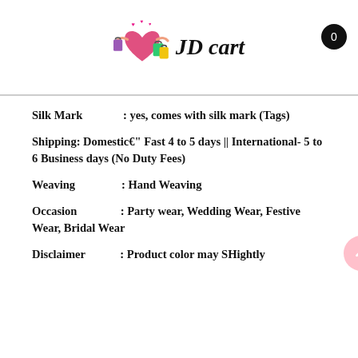[Figure (logo): JD cart shopping logo with heart and colorful bags, brand name 'JD cart' in bold italic]
Silk Mark               : yes, comes with silk mark (Tags)
Shipping: Domestic€" Fast 4 to 5 days || International- 5 to 6 Business days (No Duty Fees)
Weaving                : Hand Weaving
Occasion               : Party wear, Wedding Wear, Festive Wear, Bridal Wear
Disclaimer             : Product color may SHightly